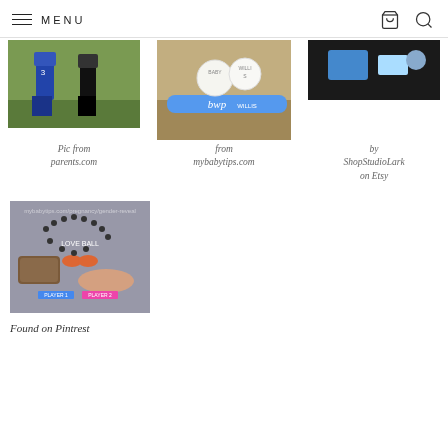MENU
[Figure (photo): Photo of people standing on grass, one wearing jersey number 3 - from parents.com]
Pic from parents.com
[Figure (photo): Baseball themed items including baseball bat labeled 'bwp' and balls with 'BABY' and 'WILLIS' text - from mybabytips.com]
from mybabytips.com
[Figure (photo): Baby items on dark background by ShopStudioLark on Etsy]
by ShopStudioLark on Etsy
[Figure (photo): Shoes and baby shoes arranged in a heart shape with text 'LOVE BALL', 'PLAYER 1' and 'PLAYER 2' - Found on Pinterest]
Found on Pintrest